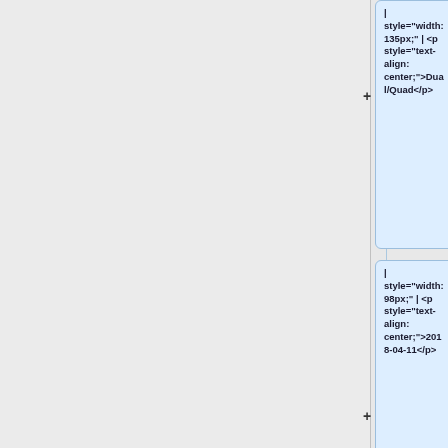| style="width: 135px;" | <p style="text-align: center;">Dual/Quad</p>
| style="width: 98px;" | <p style="text-align: center;">2018-04-11</p>
| style="width:113px;" | <p style="text-align: center;">V</p>
| style="width:113px;" | <p style="text-align: center;">